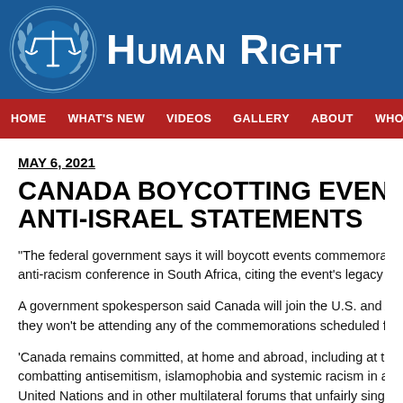Human Right
HOME  WHAT'S NEW  VIDEOS  GALLERY  ABOUT  WHO  CONT
MAY 6, 2021
CANADA BOYCOTTING EVENTS MARKING U.N. A... ANTI-ISRAEL STATEMENTS
"The federal government says it will boycott events commemorati... anti-racism conference in South Africa, citing the event's legacy o...
A government spokesperson said Canada will join the U.S. and A... they won't be attending any of the commemorations scheduled fo...
'Canada remains committed, at home and abroad, including at th... combatting antisemitism, islamophobia and systemic racism in al... United Nations and in other multilateral forums that unfairly single... spokesperson